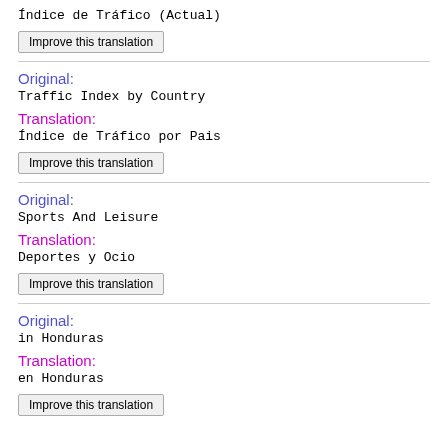Índice de Tráfico (Actual)
Improve this translation
Original: Traffic Index by Country
Translation: Índice de Tráfico por Pais
Improve this translation
Original: Sports And Leisure
Translation: Deportes y Ocio
Improve this translation
Original: in Honduras
Translation: en Honduras
Improve this translation